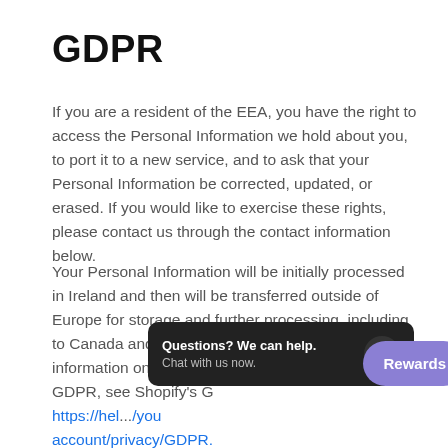GDPR
If you are a resident of the EEA, you have the right to access the Personal Information we hold about you, to port it to a new service, and to ask that your Personal Information be corrected, updated, or erased. If you would like to exercise these rights, please contact us through the contact information below.
Your Personal Information will be initially processed in Ireland and then will be transferred outside of Europe for storage and further processing, including to Canada and the United States. For more information on how data transfers comply with the GDPR, see Shopify's G... https://hel.../yo... account/privacy/GDPR.